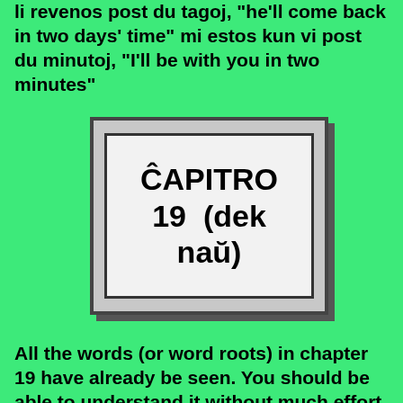li revenos post du tagoj, "he'll come back in two days' time" mi estos kun vi post du minutoj, "I'll be with you in two minutes"
ĈAPITRO 19  (dek naŭ)
All the words (or word roots) in chapter 19 have already be seen. You should be able to understand it without much effort.
ĈAPITRO